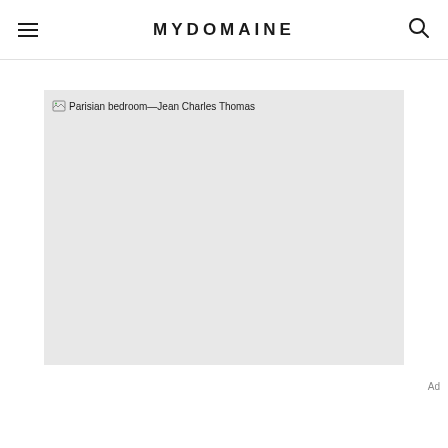MYDOMAINE
[Figure (photo): Broken image placeholder for a Parisian bedroom photo by Jean Charles Thomas. The image area is a light grey rectangle with alt text visible: 'Parisian bedroom—Jean Charles Thomas'.]
Ad